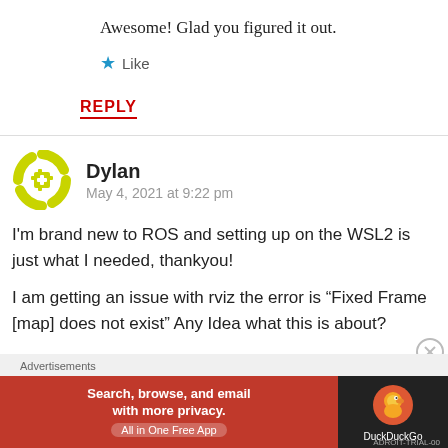Awesome! Glad you figured it out.
Like
REPLY
Dylan
May 4, 2021 at 9:22 pm
I'm brand new to ROS and setting up on the WSL2 is just what I needed, thankyou!
I am getting an issue with rviz the error is “Fixed Frame [map] does not exist” Any Idea what this is about?
[Figure (other): DuckDuckGo advertisement banner: orange background with text 'Search, browse, and email with more privacy. All in One Free App' and DuckDuckGo logo on dark background]
Advertisements